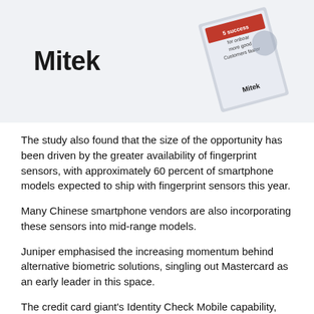[Figure (illustration): Mitek logo and a book/guide graphic on a light gray background]
The study also found that the size of the opportunity has been driven by the greater availability of fingerprint sensors, with approximately 60 percent of smartphone models expected to ship with fingerprint sensors this year.
Many Chinese smartphone vendors are also incorporating these sensors into mid-range models.
Juniper emphasised the increasing momentum behind alternative biometric solutions, singling out Mastercard as an early leader in this space.
The credit card giant's Identity Check Mobile capability, which is set to go live later this year, allows users to scan their fingerprints and/or take selfies to validate their identities and thereby make payments.
The report also said it expects to see strong adoption of the